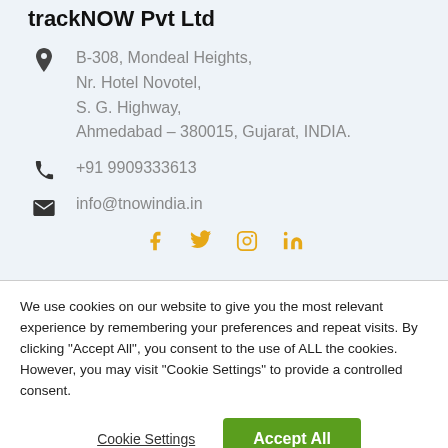trackNOW Pvt Ltd
B-308, Mondeal Heights,
Nr. Hotel Novotel,
S. G. Highway,
Ahmedabad – 380015, Gujarat, INDIA.
+91 9909333613
info@tnowindia.in
[Figure (infographic): Social media icons: Facebook, Twitter, Instagram, LinkedIn in orange/amber color]
We use cookies on our website to give you the most relevant experience by remembering your preferences and repeat visits. By clicking "Accept All", you consent to the use of ALL the cookies. However, you may visit "Cookie Settings" to provide a controlled consent.
Cookie Settings
Accept All